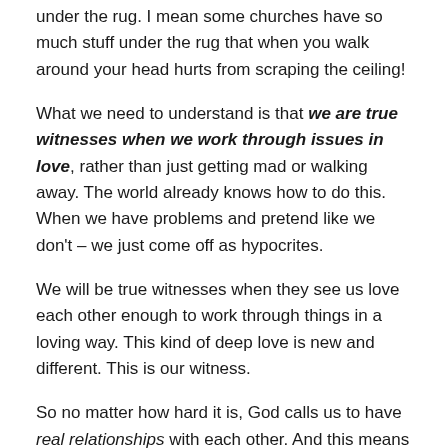under the rug. I mean some churches have so much stuff under the rug that when you walk around your head hurts from scraping the ceiling!
What we need to understand is that we are true witnesses when we work through issues in love, rather than just getting mad or walking away. The world already knows how to do this. When we have problems and pretend like we don't – we just come off as hypocrites.
We will be true witnesses when they see us love each other enough to work through things in a loving way. This kind of deep love is new and different. This is our witness.
So no matter how hard it is, God calls us to have real relationships with each other. And this means dealing with problems that arise in love.